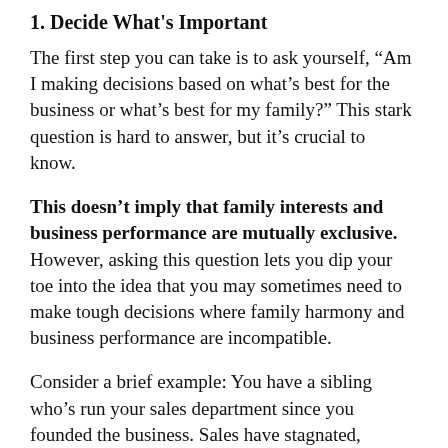1. Decide What's Important
The first step you can take is to ask yourself, “Am I making decisions based on what’s best for the business or what’s best for my family?” This stark question is hard to answer, but it’s crucial to know.
This doesn’t imply that family interests and business performance are mutually exclusive. However, asking this question lets you dip your toe into the idea that you may sometimes need to make tough decisions where family harmony and business performance are incompatible.
Consider a brief example: You have a sibling who’s run your sales department since you founded the business. Sales have stagnated,